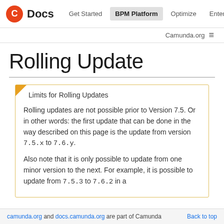C Docs | Get Started | BPM Platform | Optimize | Enterprise | Camunda.org ☰
Rolling Update
Limits for Rolling Updates

Rolling updates are not possible prior to Version 7.5. Or in other words: the first update that can be done in the way described on this page is the update from version 7.5.x to 7.6.y.

Also note that it is only possible to update from one minor version to the next. For example, it is possible to update from 7.5.3 to 7.6.2 in a
camunda.org and docs.camunda.org are part of Camunda   Back to top